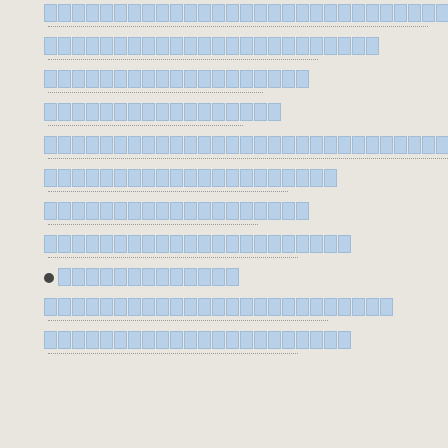[redacted block 1 - dotted underline]
[redacted block 2 - dotted underline]
[redacted block 3 - dotted underline]
[redacted block 4 - dotted underline]
[redacted block 5 - dotted underline]
[redacted block 6 - dotted underline]
[redacted block 7 - dotted underline]
[redacted block 8 - dotted underline]
● [redacted]
[redacted block 9 - dotted underline]
[redacted block 10 - dotted underline]